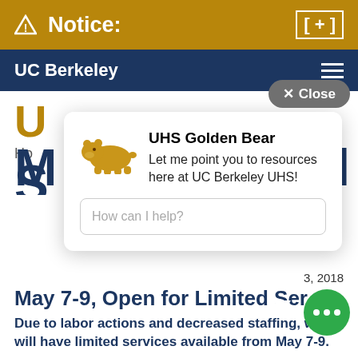Notice: [ + ]
UC Berkeley
✕ Close
UHS Golden Bear
Let me point you to resources here at UC Berkeley UHS!
How can I help?
May 3, 2018
May 7-9, Open for Limited Ser…
Due to labor actions and decreased staffing, we will have limited services available from May 7-9.